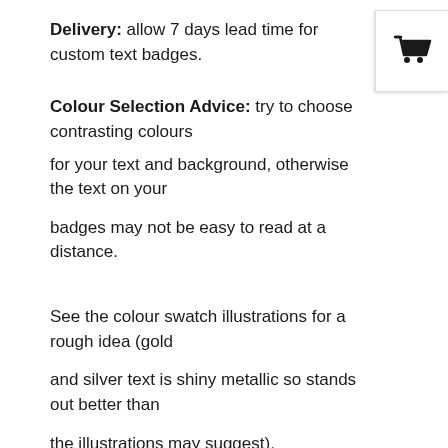Delivery: allow 7 days lead time for custom text badges.
[Figure (illustration): Shopping cart icon in a white box with border shadow, top-right corner]
Colour Selection Advice: try to choose contrasting colours
for your text and background, otherwise the text on your
badges may not be easy to read at a distance.
See the colour swatch illustrations for a rough idea (gold
and silver text is shiny metallic so stands out better than
the illustrations may suggest).